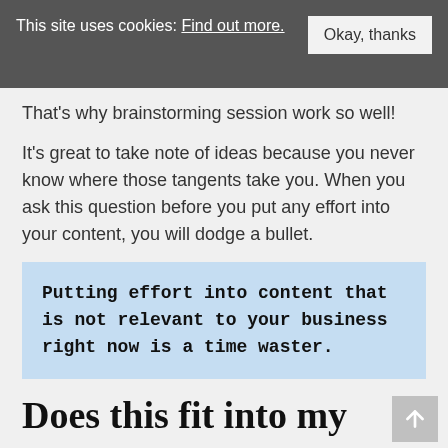This site uses cookies: Find out more. Okay, thanks
That's why brainstorming session work so well!
It's great to take note of ideas because you never know where those tangents take you. When you ask this question before you put any effort into your content, you will dodge a bullet.
Putting effort into content that is not relevant to your business right now is a time waster.
Does this fit into my